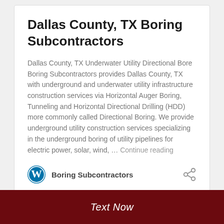Dallas County, TX Boring Subcontractors
Dallas County, TX Underwater Utility Directional Bore Boring Subcontractors provides Dallas County, TX with underground and underwater utility infrastructure construction services via Horizontal Auger Boring, Tunneling and Horizontal Directional Drilling (HDD) more commonly called Directional Boring. We provide underground utility construction services specializing in the underground boring of utility pipelines for electric power, solar, wind, … Continue reading
Boring Subcontractors
Text Now